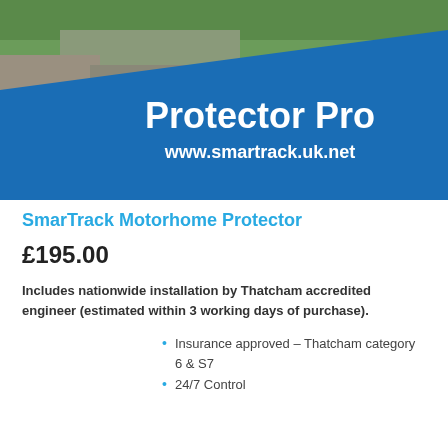[Figure (photo): Banner image showing a rural landscape with green grass, rocks and a river in the background, overlaid with a blue diagonal shape. White text reads 'Protector Pro' and 'www.smartrack.uk.net']
SmarTrack Motorhome Protector
£195.00
Includes nationwide installation by Thatcham accredited engineer (estimated within 3 working days of purchase).
Insurance approved – Thatcham category 6 & S7
24/7 Control